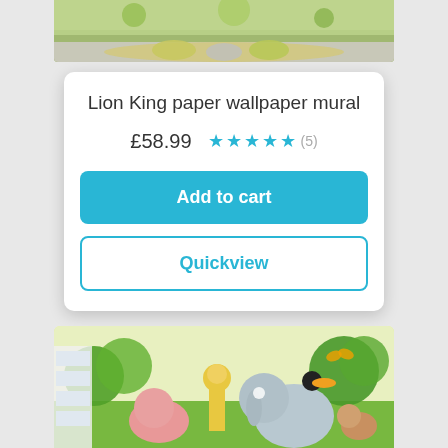[Figure (photo): Top portion of a Lion King paper wallpaper mural product image showing a room with colorful cushions on a rug]
Lion King paper wallpaper mural
£58.99 ★★★★★ (5)
Add to cart
Quickview
[Figure (photo): Bottom portion of a second product image showing a jungle animals wallpaper mural with cartoon elephant, giraffe, hippo, toucan, and other animals]